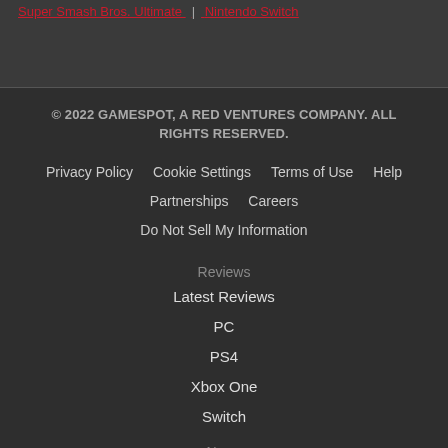Super Smash Bros. Ultimate | Nintendo Switch
© 2022 GAMESPOT, A RED VENTURES COMPANY. ALL RIGHTS RESERVED.
Privacy Policy
Cookie Settings
Terms of Use
Help
Partnerships
Careers
Do Not Sell My Information
Reviews
Latest Reviews
PC
PS4
Xbox One
Switch
News
Latest News
PC